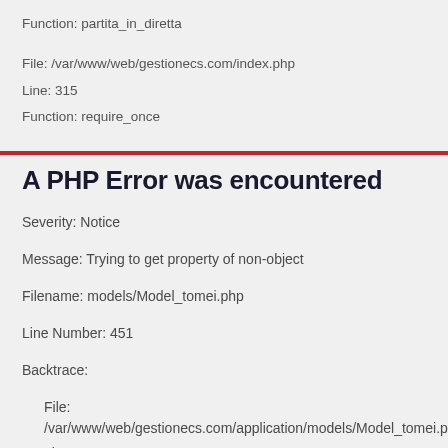Function: partita_in_diretta
File: /var/www/web/gestionecs.com/index.php
Line: 315
Function: require_once
A PHP Error was encountered
Severity: Notice
Message: Trying to get property of non-object
Filename: models/Model_tomei.php
Line Number: 451
Backtrace:
File: /var/www/web/gestionecs.com/application/models/Model_tomei.php
Line: 451
Function: _error_handler